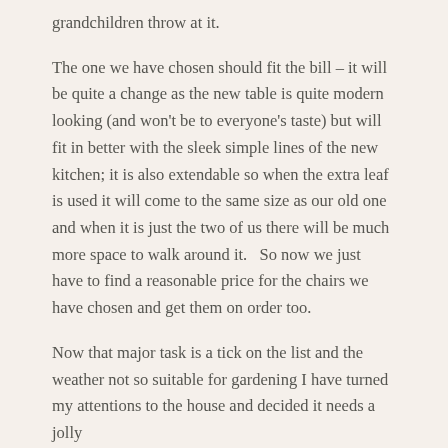grandchildren throw at it.
The one we have chosen should fit the bill – it will be quite a change as the new table is quite modern looking (and won't be to everyone's taste) but will fit in better with the sleek simple lines of the new kitchen; it is also extendable so when the extra leaf is used it will come to the same size as our old one and when it is just the two of us there will be much more space to walk around it.   So now we just have to find a reasonable price for the chairs we have chosen and get them on order too.
Now that major task is a tick on the list and the weather not so suitable for gardening I have turned my attentions to the house and decided it needs a jolly good sorting out including some editing and probably